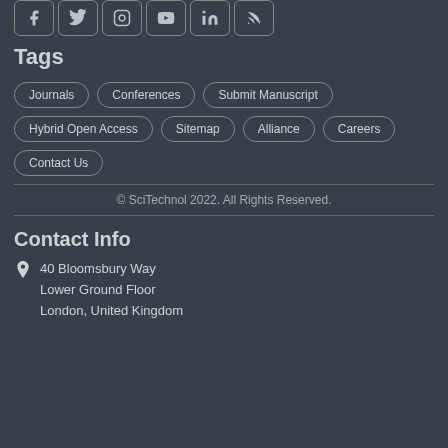[Figure (other): Row of social media icon buttons: Facebook, Twitter, Instagram, YouTube, LinkedIn, RSS]
Tags
Journals
Conferences
Submit Manuscript
Hybrid Open Access
Sitemap
Alliance
Careers
Contact Us
© SciTechnol 2022. All Rights Reserved.
Contact Info
40 Bloomsbury Way
Lower Ground Floor
London, United Kingdom